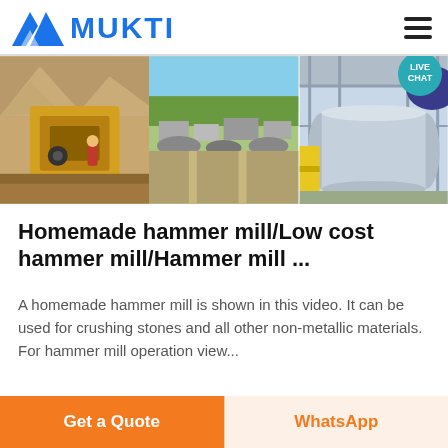[Figure (logo): MUKTI company logo with blue triangular/mountain mark and bold blue MUKTI text]
[Figure (photo): Banner with three industrial/mining site photos: jaw crusher in rocky landscape, aerial view of mining facility, and large industrial drum/mill in factory]
Homemade hammer mill/Low cost hammer mill/Hammer mill ...
A homemade hammer mill is shown in this video. It can be used for crushing stones and all other non-metallic materials. For hammer mill operation view...